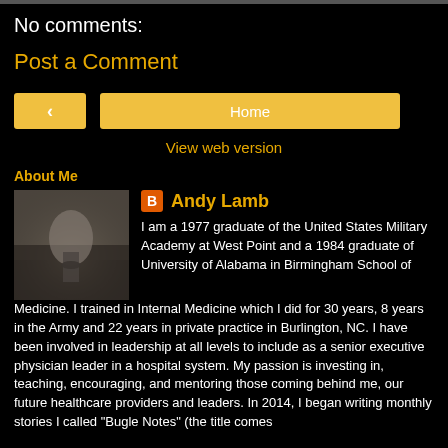No comments:
Post a Comment
[Figure (other): Navigation buttons: back arrow button and Home button]
View web version
About Me
[Figure (photo): Profile photo of a silhouetted figure in a foggy/misty outdoor scene, grayscale]
Andy Lamb
I am a 1977 graduate of the United States Military Academy at West Point and a 1984 graduate of University of Alabama in Birmingham School of Medicine. I trained in Internal Medicine which I did for 30 years, 8 years in the Army and 22 years in private practice in Burlington, NC. I have been involved in leadership at all levels to include as a senior executive physician leader in a hospital system. My passion is investing in, teaching, encouraging, and mentoring those coming behind me, our future healthcare providers and leaders. In 2014, I began writing monthly stories I called "Bugle Notes" (the title comes